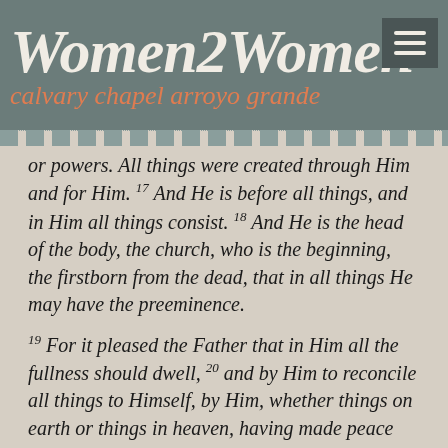Women2Women / calvary chapel arroyo grande
or powers. All things were created through Him and for Him. 17 And He is before all things, and in Him all things consist. 18 And He is the head of the body, the church, who is the beginning, the firstborn from the dead, that in all things He may have the preeminence.
19 For it pleased the Father that in Him all the fullness should dwell, 20 and by Him to reconcile all things to Himself, by Him, whether things on earth or things in heaven, having made peace through the blood of His cross.
21 And you, who once were alienated and enemies in your mind by wicked works, yet now He has reconciled